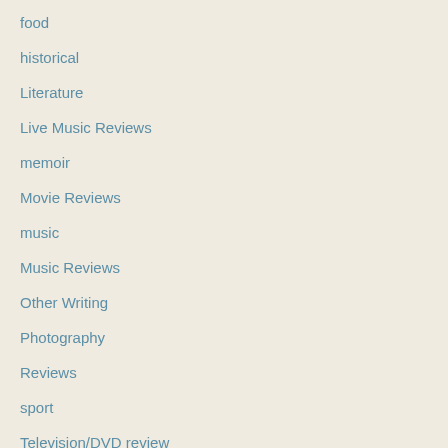food
historical
Literature
Live Music Reviews
memoir
Movie Reviews
music
Music Reviews
Other Writing
Photography
Reviews
sport
Television/DVD review
Travel
Uncategorized